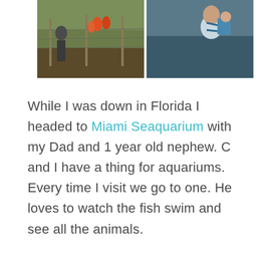[Figure (photo): Two outdoor photos side by side: left shows a person near a wire fence with flamingos visible, right shows a person wearing a light blue shirt with a child in a carrier/backpack.]
While I was down in Florida I headed to Miami Seaquarium with my Dad and 1 year old nephew. C and I have a thing for aquariums. Every time I visit we go to one. He loves to watch the fish swim and see all the animals.